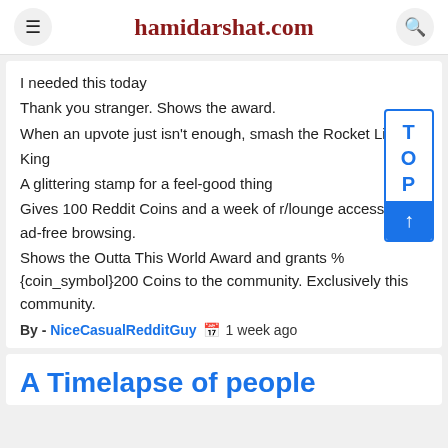hamidarshat.com
I needed this today
Thank you stranger. Shows the award.
When an upvote just isn't enough, smash the Rocket Like.
King
A glittering stamp for a feel-good thing
Gives 100 Reddit Coins and a week of r/lounge access and ad-free browsing.
Shows the Outta This World Award and grants % {coin_symbol}200 Coins to the community. Exclusively this community.
By - NiceCasualRedditGuy   1 week ago
A Timelapse of people